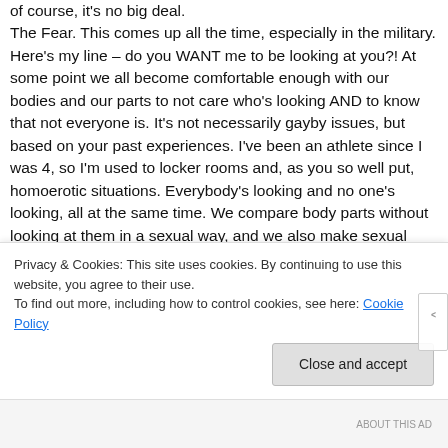of course, it's no big deal. The Fear. This comes up all the time, especially in the military. Here's my line – do you WANT me to be looking at you?! At some point we all become comfortable enough with our bodies and our parts to not care who's looking AND to know that not everyone is. It's not necessarily gayby issues, but based on your past experiences. I've been an athlete since I was 4, so I'm used to locker rooms and, as you so well put, homoerotic situations. Everybody's looking and no one's looking, all at the same time. We compare body parts without looking at them in a sexual way, and we also make sexual comments when that's really what we're
Privacy & Cookies: This site uses cookies. By continuing to use this website, you agree to their use.
To find out more, including how to control cookies, see here: Cookie Policy
Close and accept
ABOUT THIS AD